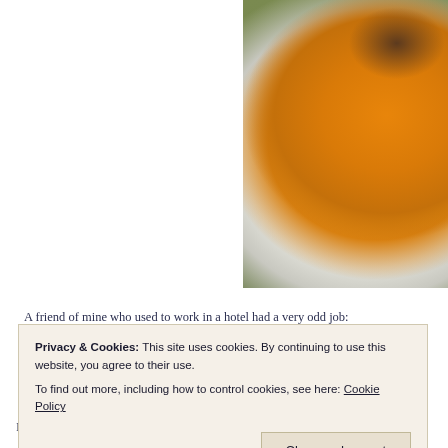[Figure (photo): Close-up photo of a white bowl containing orange/yellow soup (likely butternut squash or pumpkin soup) with croutons on top, placed on a dark green surface. Only the right portion of the bowl is visible.]
A friend of mine who used to work in a hotel had a very odd job:
Privacy & Cookies: This site uses cookies. By continuing to use this website, you agree to their use.
To find out more, including how to control cookies, see here: Cookie Policy
Close and accept
I was thinking about this the other day and I added to the